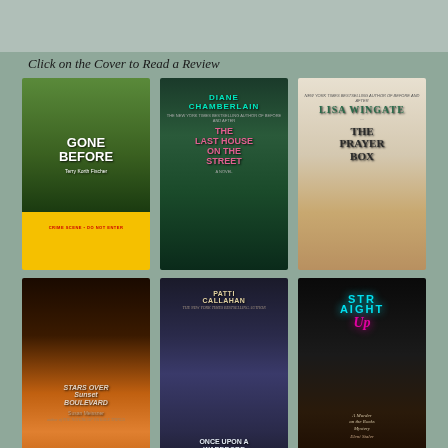Click on the Cover to Read a Review
[Figure (photo): Book cover: Gone Before by Terry Korth Fischer, crime scene tape background]
[Figure (photo): Book cover: The Last House on the Street by Diane Chamberlain]
[Figure (photo): Book cover: The Prayer Box by Lisa Wingate]
[Figure (photo): Book cover: Stars Over Sunset Boulevard by Susan Meissner]
[Figure (photo): Book cover: Once Upon a Wardrobe by Patti Callahan]
[Figure (photo): Book cover: Straight Up, A Murder on the Rocks Mystery by Eleni Statler]
[Figure (photo): Book cover: Murder, She Wrote (USA Today Bestselling Series)]
[Figure (photo): Book cover: Death Rang the Bell]
[Figure (photo): Book cover: Rhys Bowen, New York Times Bestselling Author]